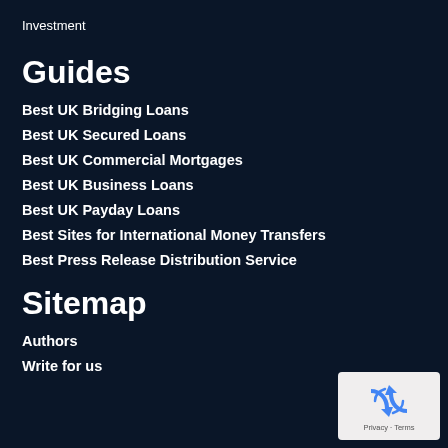Investment
Guides
Best UK Bridging Loans
Best UK Secured Loans
Best UK Commercial Mortgages
Best UK Business Loans
Best UK Payday Loans
Best Sites for International Money Transfers
Best Press Release Distribution Service
Sitemap
Authors
Write for us
[Figure (other): reCAPTCHA privacy badge with recycling-style arrow icon and Privacy - Terms text]